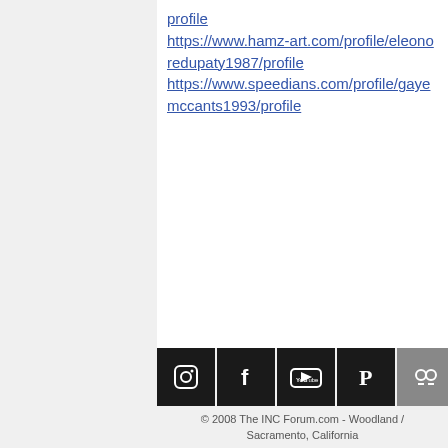profile https://www.hamz-art.com/profile/eleonoredupaty1987/profile https://www.speedians.com/profile/gayemccants1993/profile
[Figure (other): Row of social media icons: Instagram, Facebook, YouTube, Pinterest, Google+, Tumblr, Flickr, Twitter — white icons on black/gray square backgrounds]
© 2008 The INC Forum.com - Woodland / Sacramento, California